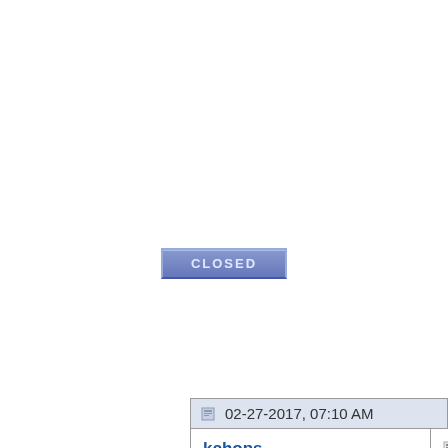[Figure (screenshot): A blue 'CLOSED' button with lighter right panel, styled like a forum thread status indicator]
02-27-2017, 07:10 AM
kchops
New Member

Join Date: Mar 2013
Model: 9180
PIN: N/A
Carrier: Vodafone
Posts: 4
Dtek5

Hello

I have ju got a Dte which I a very plea my only question that yest I pluged charger i